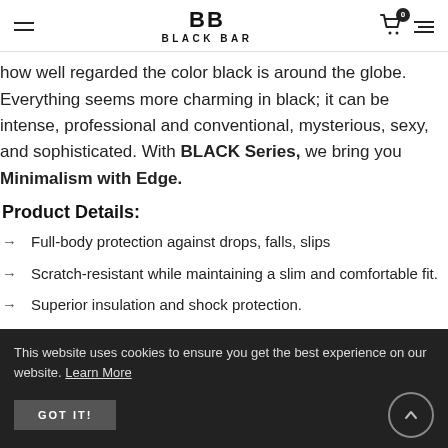BLACK BAR
how well regarded the color black is around the globe. Everything seems more charming in black; it can be intense, professional and conventional, mysterious, sexy, and sophisticated. With BLACK Series, we bring you Minimalism with Edge.
Product Details:
Full-body protection against drops, falls, slips
Scratch-resistant while maintaining a slim and comfortable fit.
Superior insulation and shock protection.
This website uses cookies to ensure you get the best experience on our website. Learn More GOT IT!